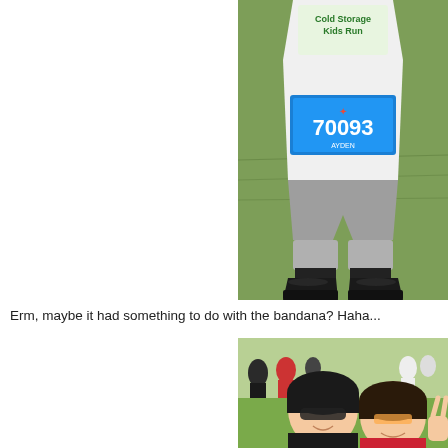[Figure (photo): A child wearing a white 'Cold Storage Kids Run' t-shirt with race bib number 70093 (AYDEN), grey shorts, black sneakers, standing on grass.]
Erm, maybe it had something to do with the bandana? Haha...
[Figure (photo): Two women smiling and posing together at an outdoor event with a crowd of people in the background. One wears sunglasses and a black top, the other wears pink/red and makes a peace sign.]